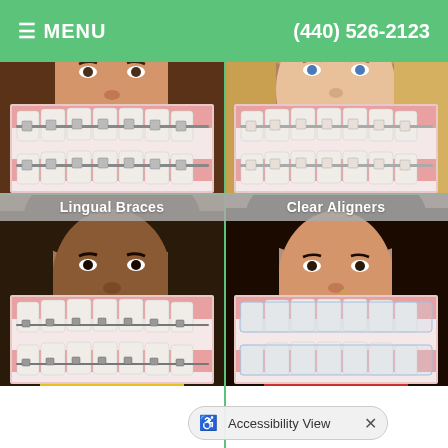☰ MENU   (440) 526-2123
[Figure (photo): Smiling teenage girl with metal braces, with a close-up inset photo of teeth with metal braces. Label: Metal Braces (partially cut off at top)]
[Figure (photo): Smiling teenage girl with ceramic braces, with a close-up inset photo of teeth with ceramic braces. Label: Ceramic Braces (partially cut off at top)]
[Figure (photo): Smiling teenage boy with lingual braces, with a close-up inset photo of teeth with lingual braces. Label: Lingual Braces]
[Figure (photo): Smiling young adult woman with clear aligners, with a close-up inset photo of teeth with clear aligners. Label: Clear Aligners]
Accessibility View ×